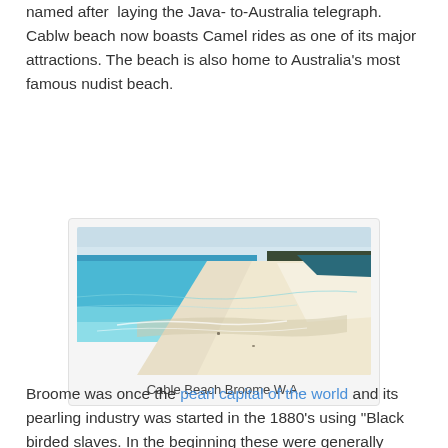named after laying the Java- to-Australia telegraph. Cablw beach now boasts Camel rides as one of its major attractions. The beach is also home to Australia's most famous nudist beach.
[Figure (photo): Aerial view of Cable Beach Broome W.A., showing turquoise ocean water on the left and a wide expanse of white sandy beach curving to the right, with scrub vegetation visible in the background.]
Cable Beach Broome W.A.
Broome was once the pearl capital of the world and its pearling industry was started in the 1880's using "Black birded slaves. In the beginning these were generally